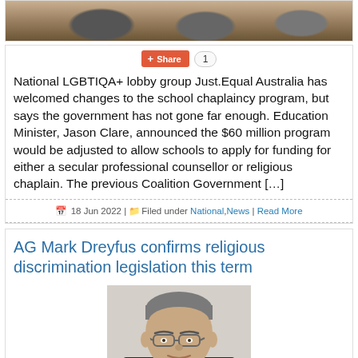[Figure (photo): Top portion of a group photo showing people standing outdoors on sandy/dirt ground]
National LGBTIQA+ lobby group Just.Equal Australia has welcomed changes to the school chaplaincy program, but says the government has not gone far enough. Education Minister, Jason Clare, announced the $60 million program would be adjusted to allow schools to apply for funding for either a secular professional counsellor or religious chaplain. The previous Coalition Government [...]
18 Jun 2022 | Filed under National, News | Read More
AG Mark Dreyfus confirms religious discrimination legislation this term
[Figure (photo): Headshot photo of a middle-aged man with grey hair and glasses, wearing a suit]